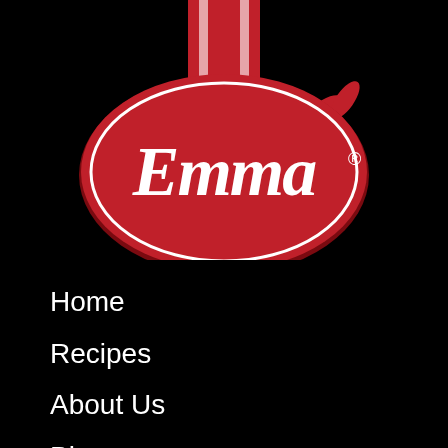[Figure (logo): Emma brand logo — red oval with white script 'Emma.' text and registered trademark symbol, with a red ribbon/banner at top and two red leaf shapes at upper right, on a black background]
Home
Recipes
About Us
Blog